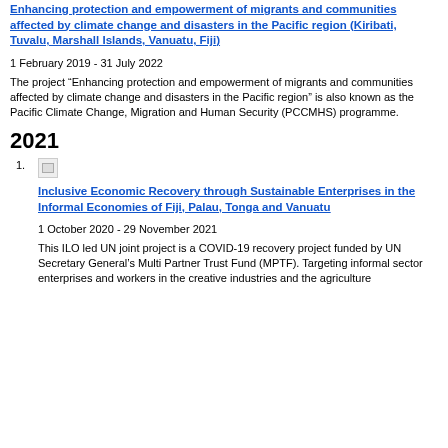Enhancing protection and empowerment of migrants and communities affected by climate change and disasters in the Pacific region (Kiribati, Tuvalu, Marshall Islands, Vanuatu, Fiji)
1 February 2019 - 31 July 2022
The project “Enhancing protection and empowerment of migrants and communities affected by climate change and disasters in the Pacific region” is also known as the Pacific Climate Change, Migration and Human Security (PCCMHS) programme.
2021
[Figure (other): Broken/missing image thumbnail]
Inclusive Economic Recovery through Sustainable Enterprises in the Informal Economies of Fiji, Palau, Tonga and Vanuatu
1 October 2020 - 29 November 2021
This ILO led UN joint project is a COVID-19 recovery project funded by UN Secretary General’s Multi Partner Trust Fund (MPTF). Targeting informal sector enterprises and workers in the creative industries and the agriculture